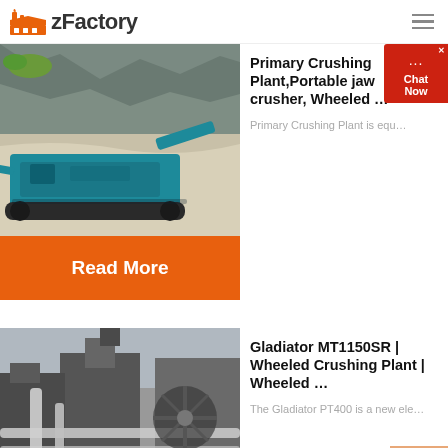zFactory
[Figure (photo): Blue mobile jaw crusher machine at a quarry site with rock face in background]
Primary Crushing Plant,Portable jaw crusher, Wheeled …
Primary Crushing Plant is equ…
Read More
[Figure (photo): Industrial crushing plant with pipes and machinery at a demolition or mining site]
Gladiator MT1150SR | Wheeled Crushing Plant | Wheeled …
The Gladiator PT400 is a new ele…